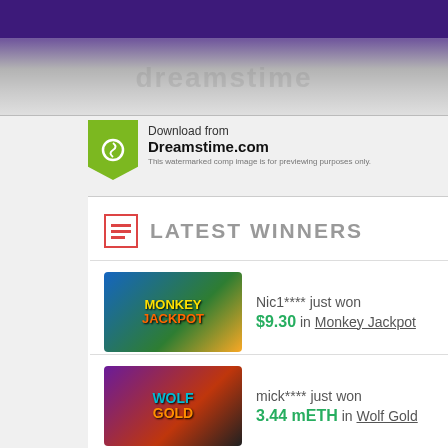[Figure (screenshot): Top purple banner with Dreamstime watermark overlay]
Download from Dreamstime.com
This watermarked comp image is for previewing purposes only.
LATEST WINNERS
Nic1**** just won $9.30 in Monkey Jackpot
mick**** just won 3.44 mETH in Wolf Gold
kei3**** just won $12.15 in The Dog House
aims**** just won $128.40 in Alice Adventure